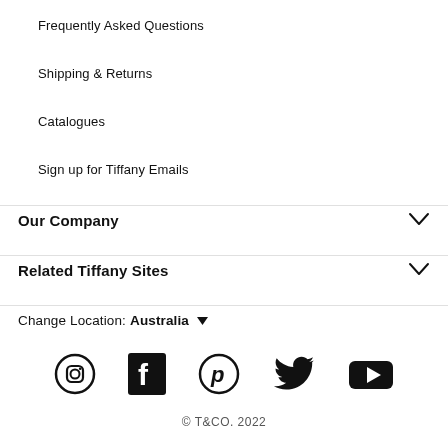Frequently Asked Questions
Shipping & Returns
Catalogues
Sign up for Tiffany Emails
Our Company
Related Tiffany Sites
Change Location: Australia
[Figure (infographic): Row of five social media icons: Instagram, Facebook, Pinterest, Twitter, YouTube]
© T&CO. 2022